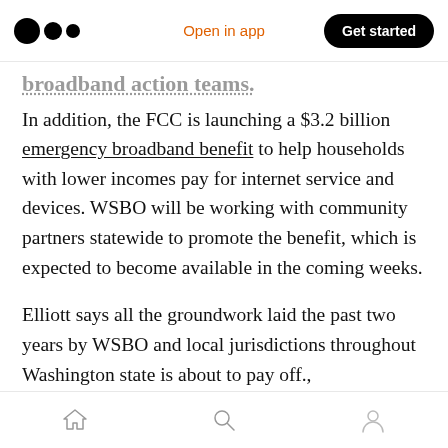Open in app | Get started
broadband action teams.
In addition, the FCC is launching a $3.2 billion emergency broadband benefit to help households with lower incomes pay for internet service and devices. WSBO will be working with community partners statewide to promote the benefit, which is expected to become available in the coming weeks.
Elliott says all the groundwork laid the past two years by WSBO and local jurisdictions throughout Washington state is about to pay off.,
Home | Search | Profile